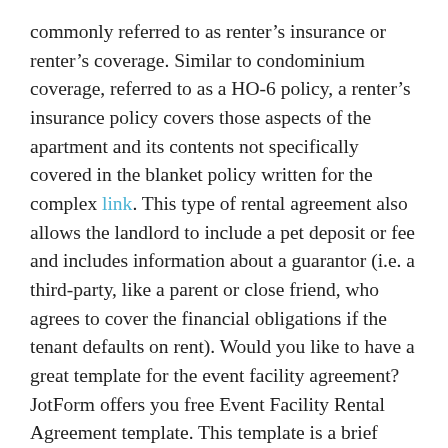commonly referred to as renter's insurance or renter's coverage. Similar to condominium coverage, referred to as a HO-6 policy, a renter's insurance policy covers those aspects of the apartment and its contents not specifically covered in the blanket policy written for the complex link. This type of rental agreement also allows the landlord to include a pet deposit or fee and includes information about a guarantor (i.e. a third-party, like a parent or close friend, who agrees to cover the financial obligations if the tenant defaults on rent). Would you like to have a great template for the event facility agreement? JotForm offers you free Event Facility Rental Agreement template. This template is a brief visual summary of the event facility rental agreement's details. The contact details, the event details such as event date, start and end time, setup-wrap time, the number of guests expected, and the payment details of the service can be found free